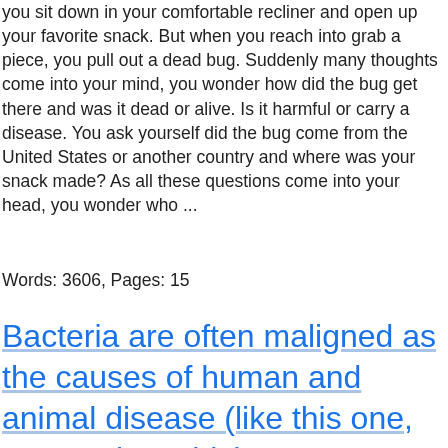you sit down in your comfortable recliner and open up your favorite snack. But when you reach into grab a piece, you pull out a dead bug. Suddenly many thoughts come into your mind, you wonder how did the bug get there and was it dead or alive. Is it harmful or carry a disease. You ask yourself did the bug come from the United States or another country and where was your snack made? As all these questions come into your head, you wonder who ...
Words: 3606, Pages: 15
Bacteria are often maligned as the causes of human and animal disease (like this one, Leptospira, which causes serious